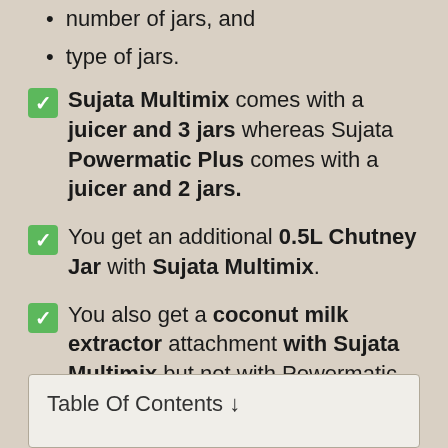number of jars, and
type of jars.
✅ Sujata Multimix comes with a juicer and 3 jars whereas Sujata Powermatic Plus comes with a juicer and 2 jars.
✅ You get an additional 0.5L Chutney Jar with Sujata Multimix.
✅ You also get a coconut milk extractor attachment with Sujata Multimix but not with Powermatic Plus.
Table Of Contents ↓